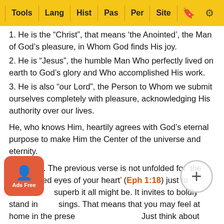Tools | Lang | Hist | Pas | Per | Site
1. He is the “Christ”, that means ‘the Anointed’, the Man of God’s pleasure, in Whom God finds His joy.
2. He is “Jesus”, the humble Man Who perfectly lived on earth to God’s glory and Who accomplished His work.
3. He is also “our Lord”, the Person to Whom we submit ourselves completely with pleasure, acknowledging His authority over our lives.
He, who knows Him, heartily agrees with God’s eternal purpose to make Him the Center of the universe and eternity.
Eph 3:12. The previous verse is not unfolded for ‘the enlightened eyes of your heart’ (Eph 1:18) just to admire how superb it all might be. It invites to boldly stand in all blessings. That means that you may feel at home in the presence of the Father. Just think about what the basis is for this b